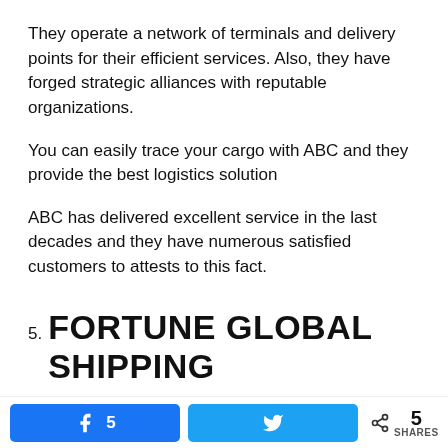They operate a network of terminals and delivery points for their efficient services. Also, they have forged strategic alliances with reputable organizations.
You can easily trace your cargo with ABC and they provide the best logistics solution
ABC has delivered excellent service in the last decades and they have numerous satisfied customers to attests to this fact.
5. FORTUNE GLOBAL SHIPPING
Fortune Global Shipping…
Facebook 5 | Twitter | < 5 SHARES